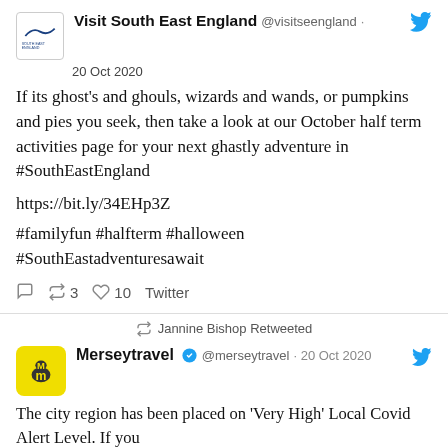[Figure (logo): Visit South East England logo]
Visit South East England @visitseengland · 20 Oct 2020
If its ghost's and ghouls, wizards and wands, or pumpkins and pies you seek, then take a look at our October half term activities page for your next ghastly adventure in #SouthEastEngland
https://bit.ly/34EHp3Z
#familyfun #halfterm #halloween #SouthEastadventuresawait
↺ 3   ♡ 10   Twitter
↺ Jannine Bishop Retweeted
[Figure (logo): Merseytravel yellow M logo]
Merseytravel ✓ @merseytravel · 20 Oct 2020
The city region has been placed on 'Very High' Local Covid Alert Level. If you